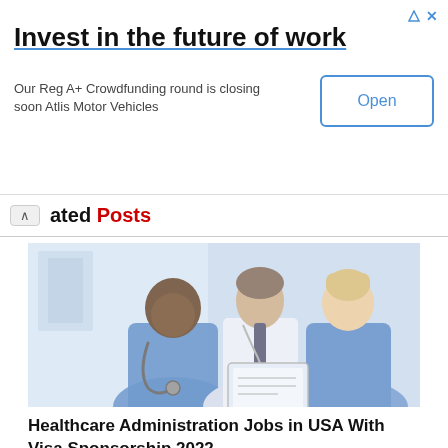[Figure (infographic): Advertisement banner: 'Invest in the future of work' with subtitle 'Our Reg A+ Crowdfunding round is closing soon Atlis Motor Vehicles' and an 'Open' button on the right.]
Related Posts
[Figure (photo): Photo of three healthcare professionals — one in blue scrubs with a stethoscope, one in a white shirt with a lanyard, and one in blue scrubs — looking down together at a tablet or document.]
Healthcare Administration Jobs in USA With Visa Sponsorship 2022